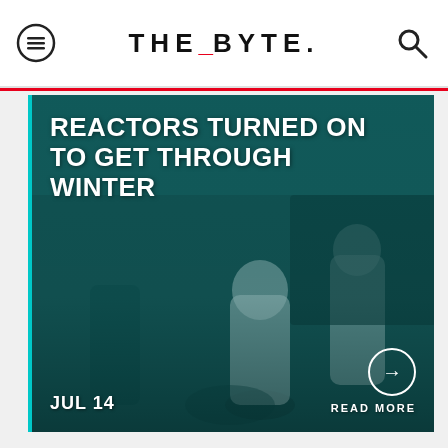THE_BYTE.
[Figure (photo): Workers in white hazmat suits/protective gear boarding or working around a vehicle, teal/dark teal color-tinted photograph]
REACTORS TURNED ON TO GET THROUGH WINTER
JUL 14
READ MORE